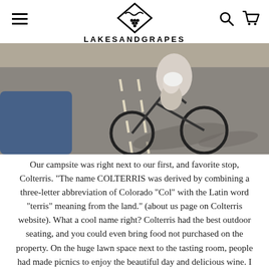[Figure (logo): Lakes and Grapes logo: diamond shape with wave and grapes inside, text LAKESANDGRAPES below]
[Figure (photo): Two cyclists riding on a road, shot from behind/side, sunny day with long shadows on asphalt]
Our campsite was right next to our first, and favorite stop, Colterris. "The name COLTERRIS was derived by combining a three-letter abbreviation of Colorado "Col" with the Latin word "terris" meaning from the land." (about us page on Colterris website). What a cool name right? Colterris had the best outdoor seating, and you could even bring food not purchased on the property. On the huge lawn space next to the tasting room, people had made picnics to enjoy the beautiful day and delicious wine. I had never experienced